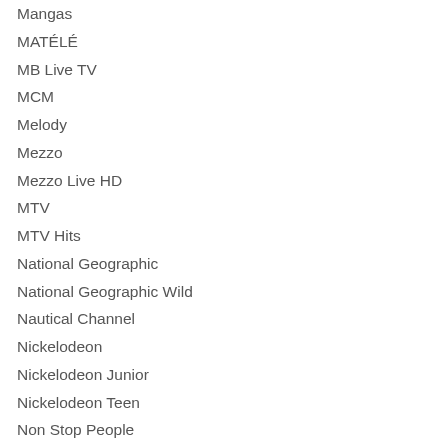Mangas
MATÉLÉ
MB Live TV
MCM
Melody
Mezzo
Mezzo Live HD
MTV
MTV Hits
National Geographic
National Geographic Wild
Nautical Channel
Nickelodeon
Nickelodeon Junior
Nickelodeon Teen
Non Stop People
NRJ Hits